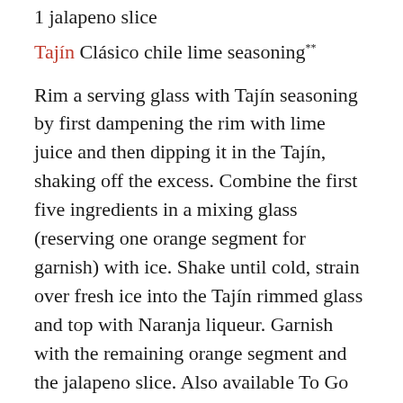1 jalapeno slice
Tajín Clásico chile lime seasoning**
Rim a serving glass with Tajín seasoning by first dampening the rim with lime juice and then dipping it in the Tajín, shaking off the excess. Combine the first five ingredients in a mixing glass (reserving one orange segment for garnish) with ice. Shake until cold, strain over fresh ice into the Tajín rimmed glass and top with Naranja liqueur. Garnish with the remaining orange segment and the jalapeno slice. Also available To Go from saylorsrestaurantandbar.com. One single for $12.50, or a quart for $35.
*Santo Blanco is the new tequila being marketed by Marin local Sammy Hagar (who had previously made and marketed Cabo Wabo tequila) and his partner, Sonoma local, restaurateur/TV show host, Guy Fieri. Santo also makes a “mezquila,” which is a proprietary